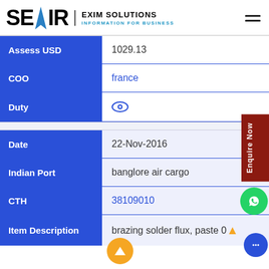SEAIR EXIM SOLUTIONS — INFORMATION FOR BUSINESS
| Field | Value |
| --- | --- |
| Assess USD | 1029.13 |
| COO | france |
| Duty | (eye icon) |
| Date | 22-Nov-2016 |
| Indian Port | banglore air cargo |
| CTH | 38109010 |
| Item Description | brazing solder flux, paste 0... |